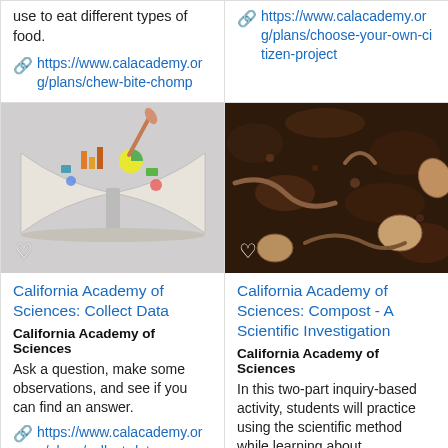use to eat different types of food.
https://www.calacademy.org/plans/chew-bite-chomp
https://www.calacademy.org/plans/choose-your-own-citizen-project
[Figure (photo): Open book with data/analytics icons floating above it, hand holding a pencil touching the icons]
[Figure (photo): Close-up photo of soil with worms and organic material — compost]
California Academy of Sciences: Collect Data
California Academy of Sciences
Ask a question, make some observations, and see if you can find an answer.
https://www.calacademy.org/plans/collect-data
California Academy of Sciences: Compost - A Scientific Investigation
California Academy of Sciences
In this two-part inquiry-based activity, students will practice using the scientific method while learning about